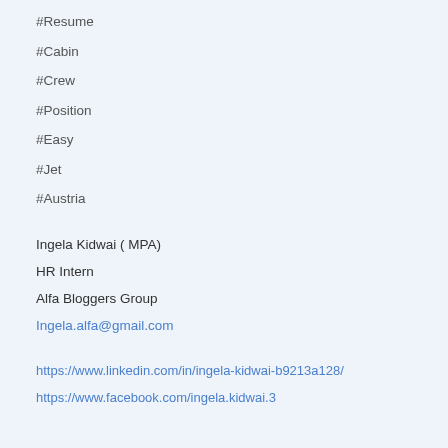#Resume
#Cabin
#Crew
#Position
#Easy
#Jet
#Austria
Ingela Kidwai ( MPA)
HR Intern
Alfa Bloggers Group
Ingela.alfa@gmail.com
https://www.linkedin.com/in/ingela-kidwai-b9213a128/
https://www.facebook.com/ingela.kidwai.3